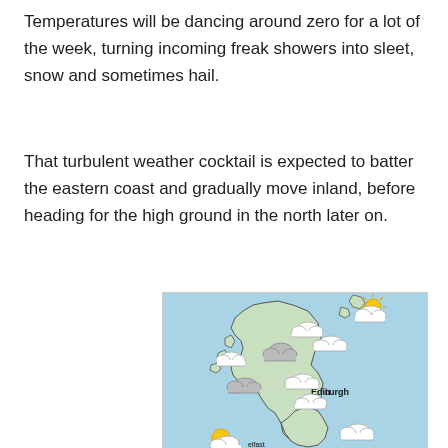Temperatures will be dancing around zero for a lot of the week, turning incoming freak showers into sleet, snow and sometimes hail.
That turbulent weather cocktail is expected to batter the eastern coast and gradually move inland, before heading for the high ground in the north later on.
[Figure (map): Weather map of the United Kingdom showing cloud and sun icons over different regions. Scotland is shown with mostly cloudy icons, Edinburgh is labeled. The map background is light blue (sea) with green land masses. Partial view showing northern UK.]